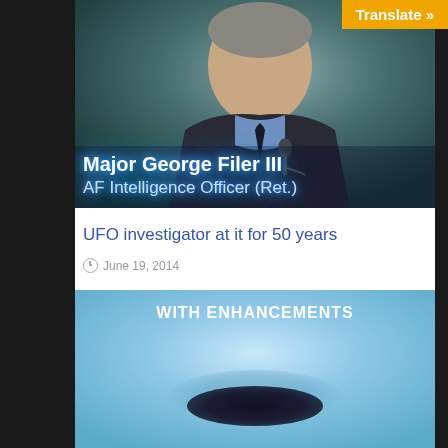[Figure (photo): Photo of Major George Filer III, a man in a dark suit with overlay text reading 'Major George Filer III' and 'AF Intelligence Officer (Ret.)' with blue glowing text]
UFO investigator at it for 50 years
June 19, 2014
[Figure (photo): Blue-tinted image with text 'WITH ENHANCEMENTS' at top and a dark oval UFO shape in the center]
Translate »